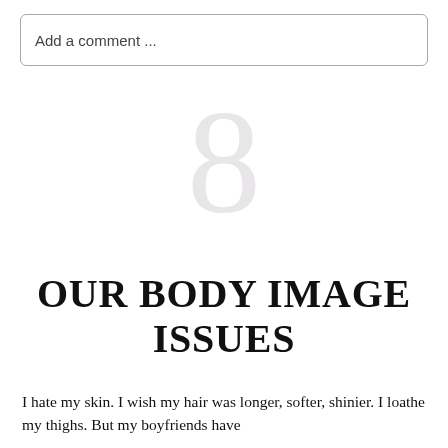Add a comment ...
[Figure (other): Large light grey numeral '8' as chapter number decoration]
OUR BODY IMAGE ISSUES
I hate my skin. I wish my hair was longer, softer, shinier. I loathe my thighs. But my boyfriends have